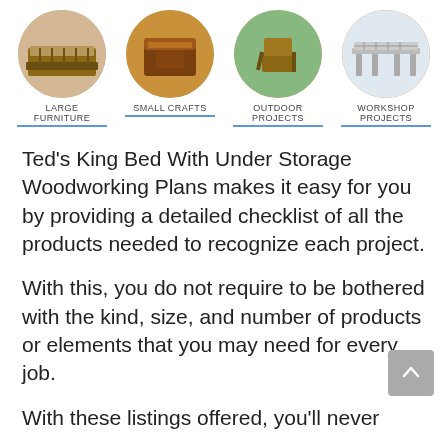[Figure (infographic): Navigation row with four circular images and labels: LARGE FURNITURE, SMALL CRAFTS, OUTDOOR PROJECTS, WORKSHOP PROJECTS]
Ted's King Bed With Under Storage Woodworking Plans makes it easy for you by providing a detailed checklist of all the products needed to recognize each project.
With this, you do not require to be bothered with the kind, size, and number of products or elements that you may need for every job.
With these listings offered, you'll never